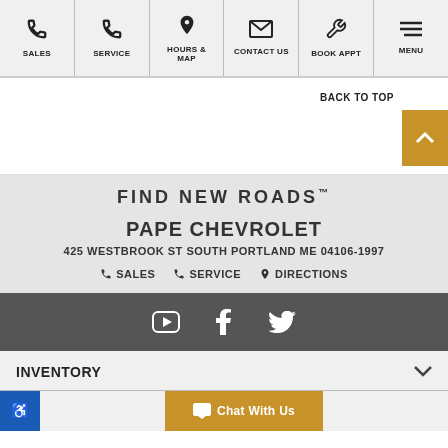[Figure (screenshot): Website navigation bar with icons for SALES, SERVICE, HOURS & MAP, CONTACT US, BOOK APPT, MENU]
BACK TO TOP
FIND NEW ROADS™
PAPE CHEVROLET
425 WESTBROOK ST SOUTH PORTLAND ME 04106-1997
SALES  SERVICE  DIRECTIONS
[Figure (screenshot): Social media icons: YouTube, Facebook, Twitter on dark grey background]
INVENTORY
Chat With Us